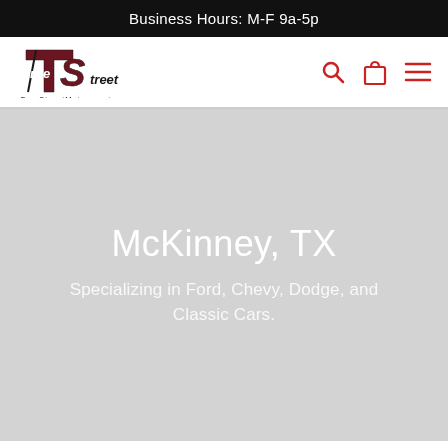Business Hours: M-F 9a-5p
[Figure (logo): True Street Motorsports logo with stylized TS letters and text 'TrueStreetMotorsports']
McKinney, TX
Specializing in Ford, Chevy, Dodge, and Classic Cars.